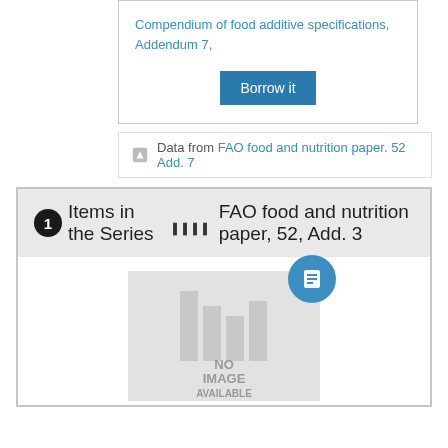Compendium of food additive specifications, Addendum 7,
Borrow it
Data from FAO food and nutrition paper. 52 Add. 7
1 Items in the Series ||| FAO food and nutrition paper, 52, Add. 3
[Figure (illustration): NO IMAGE AVAILABLE placeholder with book icon overlay]